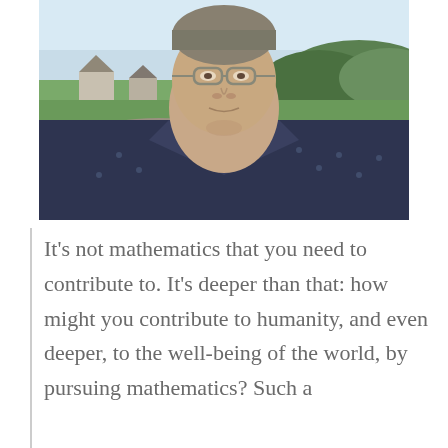[Figure (photo): Close-up photo of an older man wearing glasses and a dark patterned shirt, outdoors with green hills, houses, and a light blue sky in the background.]
It's not mathematics that you need to contribute to. It's deeper than that: how might you contribute to humanity, and even deeper, to the well-being of the world, by pursuing mathematics? Such a